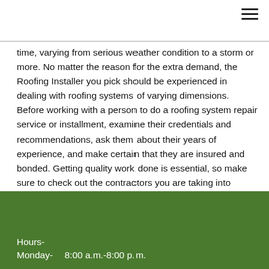time, varying from serious weather condition to a storm or more. No matter the reason for the extra demand, the Roofing Installer you pick should be experienced in dealing with roofing systems of varying dimensions. Before working with a person to do a roofing system repair service or installment, examine their credentials and recommendations, ask them about their years of experience, and make certain that they are insured and bonded. Getting quality work done is essential, so make sure to check out the contractors you are taking into consideration very carefully.
Hours-
Monday-   8:00 a.m.-8:00 p.m.